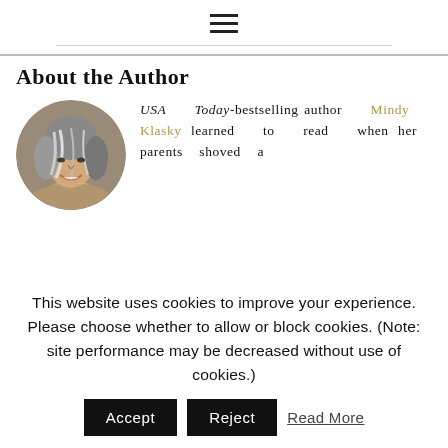≡ (hamburger menu icon)
About the Author
[Figure (photo): Circular portrait photo of a woman with gray and dark hair, smiling, against a neutral background.]
USA Today-bestselling author Mindy Klasky learned to read when her parents shoved a…
This website uses cookies to improve your experience. Please choose whether to allow or block cookies. (Note: site performance may be decreased without use of cookies.)
Accept   Reject   Read More